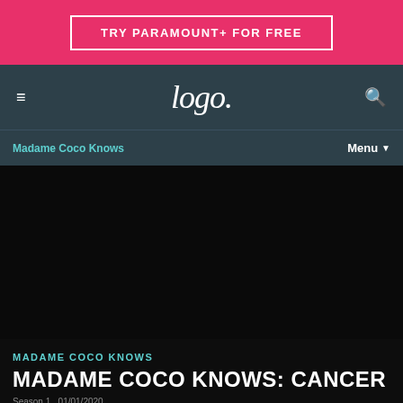[Figure (screenshot): Pink advertisement banner with 'TRY PARAMOUNT+ FOR FREE' button outlined in white on hot pink background]
[Figure (screenshot): Dark teal navigation bar with hamburger menu icon on left, Logo TV script logo in center, search icon on right]
Madame Coco Knows
[Figure (photo): Large dark/black hero image area for video content]
MADAME COCO KNOWS
MADAME COCO KNOWS: CANCER
Season 1  01/01/2020